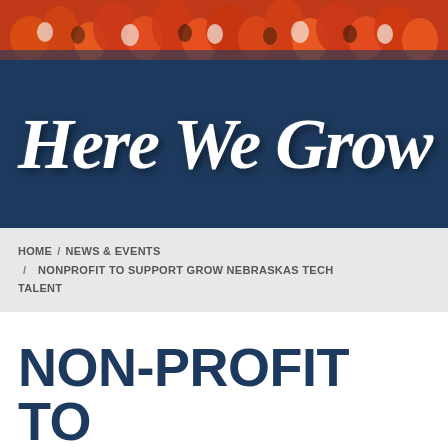[Figure (photo): Crowd of fans wearing orange and white colors at a sporting event, viewed from above]
Here We Grow
HOME / NEWS & EVENTS / NONPROFIT TO SUPPORT GROW NEBRASKAS TECH TALENT
NON-PROFIT TO SUPPORT, GROW NEBRASKA'S TECH